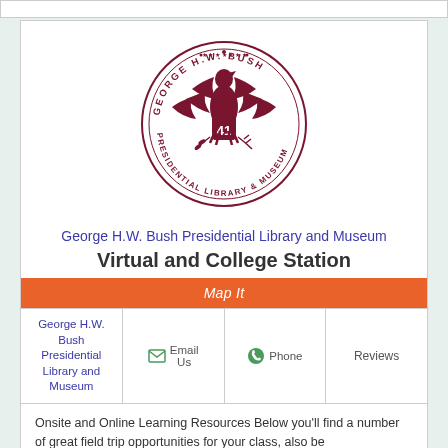[Figure (logo): George H.W. Bush Presidential Library and Museum circular seal with eagle and number 41 in dark red/maroon color]
George H.W. Bush Presidential Library and Museum
Virtual and College Station
Map It
| George H.W. Bush Presidential Library and Museum | Email Us | Phone | Reviews |
| --- | --- | --- | --- |
|  |
Onsite and Online Learning Resources Below you'll find a number of great field trip opportunities for your class, also be